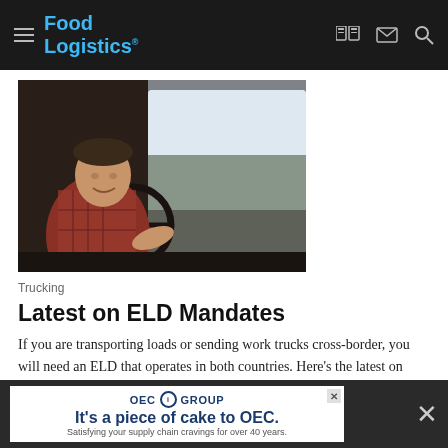Food Logistics
[Figure (photo): Man driving a large truck, smiling, wearing a plaid shirt, hand on steering wheel, shot from passenger side inside the cab]
Trucking
Latest on ELD Mandates
If you are transporting loads or sending work trucks cross-border, you will need an ELD that operates in both countries. Here's the latest on ELD mandates.
Axele    August 1, 2022
[Figure (screenshot): OEC Group advertisement banner: 'It's a piece of cake to OEC.' with tagline 'Satisfying your supply chain cravings for over 40 years.']